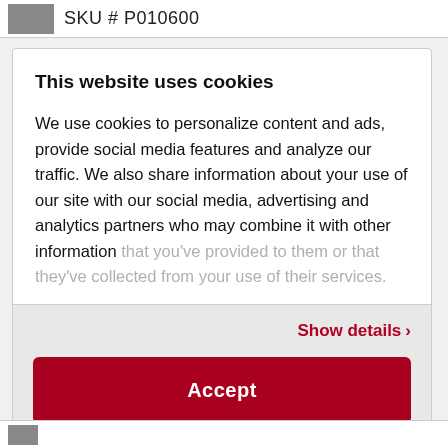SKU # P010600
This website uses cookies
We use cookies to personalize content and ads, provide social media features and analyze our traffic. We also share information about your use of our site with our social media, advertising and analytics partners who may combine it with other information that you’ve provided to them or that they’ve collected from your use of their services.
Show details ›
Accept
Powered by Cookiebot by Usercentrics